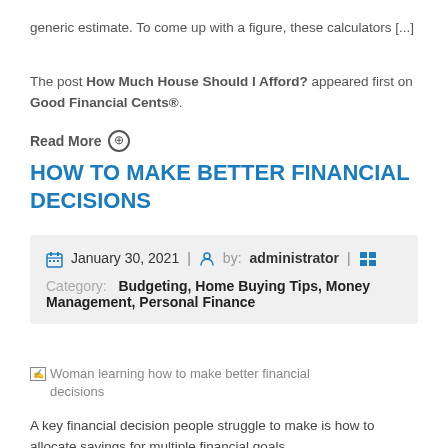generic estimate. To come up with a figure, these calculators [...]
The post How Much House Should I Afford? appeared first on Good Financial CentsÂ®.
Read More ☉
HOW TO MAKE BETTER FINANCIAL DECISIONS
January 30, 2021 | by: administrator |
Category: Budgeting, Home Buying Tips, Money Management, Personal Finance
[Figure (photo): Woman learning how to make better financial decisions (broken image placeholder)]
A key financial decision people struggle to make is how to allocate savings for multiple financial goals.